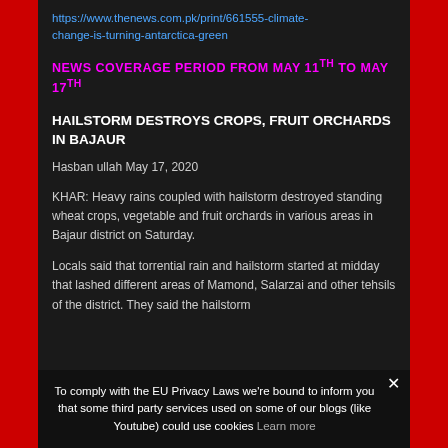https://www.thenews.com.pk/print/661555-climate-change-is-turning-antarctica-green
NEWS COVERAGE PERIOD FROM MAY 11TH TO MAY 17TH
HAILSTORM DESTROYS CROPS, FRUIT ORCHARDS IN BAJAUR
Hasban ullah May 17, 2020
KHAR: Heavy rains coupled with hailstorm destroyed standing wheat crops, vegetable and fruit orchards in various areas in Bajaur district on Saturday.
Locals said that torrential rain and hailstorm started at midday that lashed different areas of Mamond, Salarzai and other tehsils of the district. They said the hailstorm
To comply with the EU Privacy Laws we're bound to inform you that some third party services used on some of our blogs (like Youtube) could use cookies Learn more